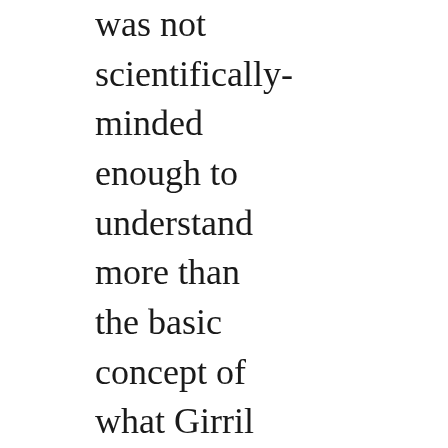was not scientifically-minded enough to understand more than the basic concept of what Girril actually did all day, she did love her enthusiasm for genetics, and found that her